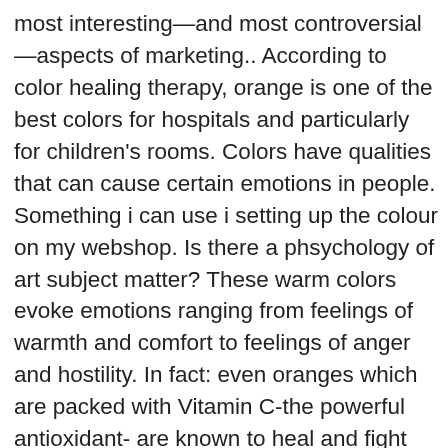most interesting—and most controversial—aspects of marketing.. According to color healing therapy, orange is one of the best colors for hospitals and particularly for children's rooms. Colors have qualities that can cause certain emotions in people. Something i can use i setting up the colour on my webshop. Is there a phsychology of art subject matter? These warm colors evoke emotions ranging from feelings of warmth and comfort to feelings of anger and hostility. In fact: even oranges which are packed with Vitamin C-the powerful antioxidant- are known to heal and fight free radicals to boost immunity. Well, there's a good chance that the colors in those spaces are playing a part. This item: Color Psychology and Color Therapy: A Factual Study of the Influence of Color on Human Life by Faber Birren Paperback $14.95. I am currently writing my speech for school on colour physchology – there is sooo much cool and interesting information that i don't know what 2 do.. You do want to be